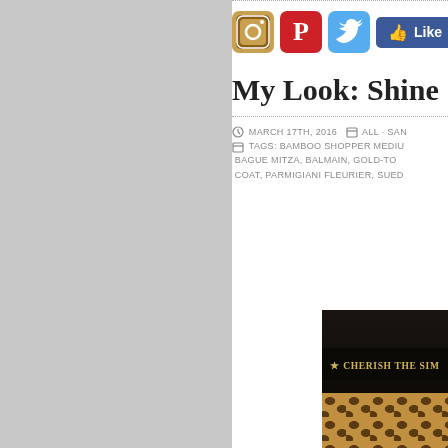[Figure (screenshot): Gray left panel of a webpage]
[Figure (screenshot): Social media share icons: Instagram, Pinterest, Twitter, and Facebook Like button showing 2.5K likes]
My Look: Shine
MARCH 17TH, 2016 | ALL · TAGS: BAMBOO SHOPPER MEDIUM, BAGUE MITZA, BALMAIN, GOLD-TO COAT, PARMIGIANI FLEURIER, SUED...
[Figure (photo): Dark image with gold text reading 'CHERISH THE SIM...' and leopard print pattern at bottom]